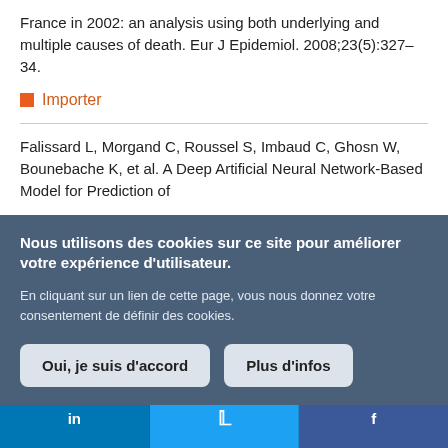France in 2002: an analysis using both underlying and multiple causes of death. Eur J Epidemiol. 2008;23(5):327–34.
Importer
Falissard L, Morgand C, Roussel S, Imbaud C, Ghosn W, Bounebache K, et al. A Deep Artificial Neural Network-Based Model for Prediction of...
Nous utilisons des cookies sur ce site pour améliorer votre expérience d'utilisateur.

En cliquant sur un lien de cette page, vous nous donnez votre consentement de définir des cookies.

Oui, je suis d'accord    Plus d'infos
in    [Twitter bird]    f